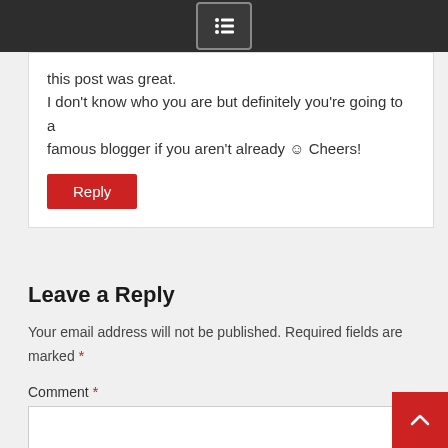[hamburger menu icon]
this post was great.
I don't know who you are but definitely you're going to a famous blogger if you aren't already ☺ Cheers!
Reply
Leave a Reply
Your email address will not be published. Required fields are marked *
Comment *